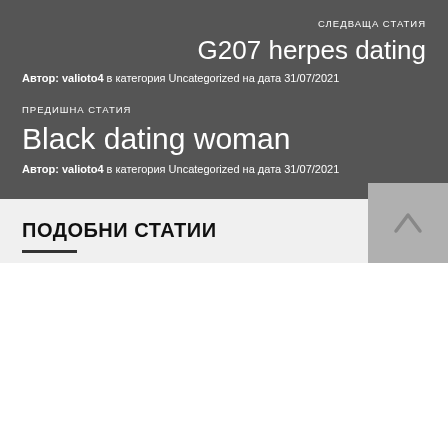СЛЕДВАЩА СТАТИЯ
G207 herpes dating
Автор: valioto4 в категория Uncategorized на дата 31/07/2021
ПРЕДИШНА СТАТИЯ
Black dating woman
Автор: valioto4 в категория Uncategorized на дата 31/07/2021
ПОДОБНИ СТАТИИ